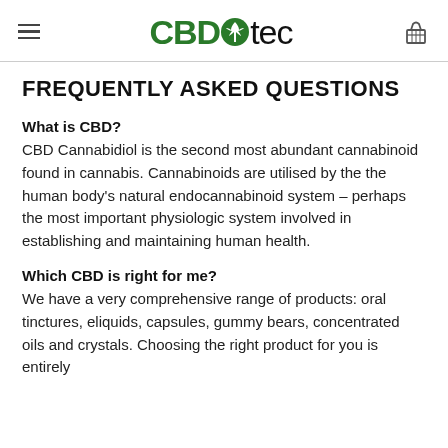CBDtec
FREQUENTLY ASKED QUESTIONS
What is CBD?
CBD Cannabidiol is the second most abundant cannabinoid found in cannabis. Cannabinoids are utilised by the the human body's natural endocannabinoid system – perhaps the most important physiologic system involved in establishing and maintaining human health.
Which CBD is right for me?
We have a very comprehensive range of products: oral tinctures, eliquids, capsules, gummy bears, concentrated oils and crystals. Choosing the right product for you is entirely